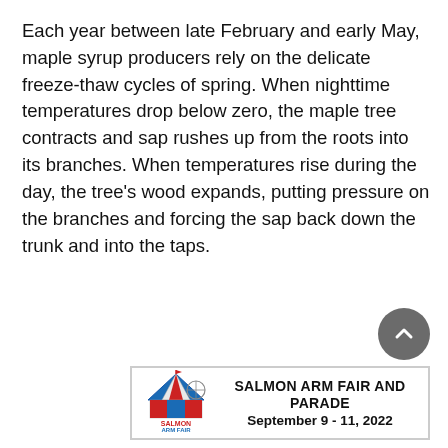Each year between late February and early May, maple syrup producers rely on the delicate freeze-thaw cycles of spring. When nighttime temperatures drop below zero, the maple tree contracts and sap rushes up from the roots into its branches. When temperatures rise during the day, the tree's wood expands, putting pressure on the branches and forcing the sap back down the trunk and into the taps.
[Figure (logo): Salmon Arm Fair and Parade advertisement banner with fair logo on the left and event text on the right reading: SALMON ARM FAIR AND PARADE, September 9 - 11, 2022]